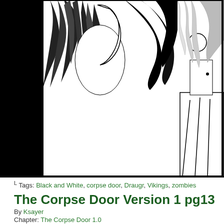[Figure (illustration): Black and white comic panels showing two characters with long hair in close proximity, appears to be an intimate or tense scene. Top portion of a comic page cropped.]
Tags: Black and White, corpse door, Draugr, Vikings, zombies
The Corpse Door Version 1 pg13
By Ksayer
Chapter: The Corpse Door 1.0
[Figure (illustration): Black and white comic panel showing a fist or hand with a speech bubble saying 'DRAUGR.' and a partial panel on the right with text 'BR'.]